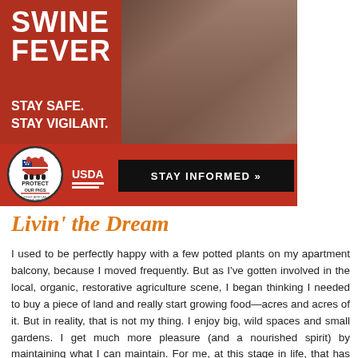[Figure (infographic): USDA advertisement banner: dark red background with man holding a piglet. Bold white text 'SWINE FEVER' and 'STAY SAFE. STAY VIGILANT.' on left. Bottom section shows 'Protect Our Pigs - Fight African Swine Fever' circular logo, USDA logo, and black 'STAY INFORMED »' button.]
Livin' the Dream
I used to be perfectly happy with a few potted plants on my apartment balcony, because I moved frequently. But as I've gotten involved in the local, organic, restorative agriculture scene, I began thinking I needed to buy a piece of land and really start growing food—acres and acres of it. But in reality, that is not my thing. I enjoy big, wild spaces and small gardens. I get much more pleasure (and a nourished spirit) by maintaining what I can maintain. For me, at this stage in life, that has taken the following form: a few veggies in the